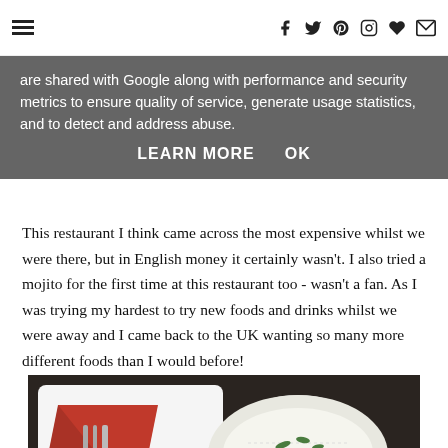Navigation and social icons (hamburger menu, f, twitter, pinterest, instagram, heart, mail)
are shared with Google along with performance and security metrics to ensure quality of service, generate usage statistics, and to detect and address abuse.
LEARN MORE    OK
This restaurant I think came across the most expensive whilst we were there, but in English money it certainly wasn't. I also tried a mojito for the first time at this restaurant too - wasn't a fan. As I was trying my hardest to try new foods and drinks whilst we were away and I came back to the UK wanting so many more different foods than I would before!
[Figure (photo): Restaurant table setting with a white square plate holding a red napkin with cutlery, and a metal bowl of white rice garnished with green herbs, on a dark surface.]